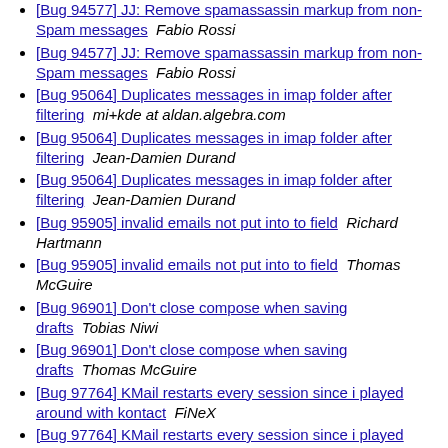[Bug 94577] JJ: Remove spamassassin markup from non-Spam messages  Fabio Rossi
[Bug 94577] JJ: Remove spamassassin markup from non-Spam messages  Fabio Rossi
[Bug 95064] Duplicates messages in imap folder after filtering  mi+kde at aldan.algebra.com
[Bug 95064] Duplicates messages in imap folder after filtering  Jean-Damien Durand
[Bug 95064] Duplicates messages in imap folder after filtering  Jean-Damien Durand
[Bug 95905] invalid emails not put into to field  Richard Hartmann
[Bug 95905] invalid emails not put into to field  Thomas McGuire
[Bug 96901] Don't close compose when saving drafts  Tobias Niwi
[Bug 96901] Don't close compose when saving drafts  Thomas McGuire
[Bug 97764] KMail restarts every session since i played around with kontact  FiNeX
[Bug 97764] KMail restarts every session since i played around with kontact  Chris
[Bug 97764] KMail restarts every session since i played around with kontact  FiNeX
[Bug 97764] KMail restarts every session since i played around with kontact